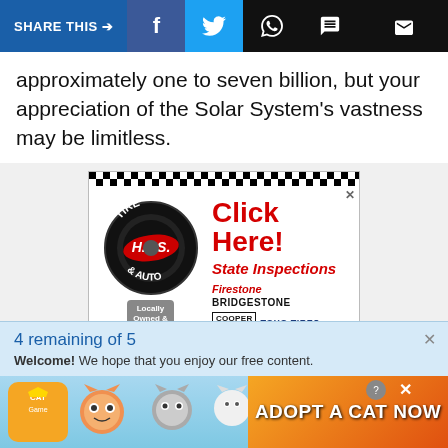SHARE THIS → [social share icons: Facebook, Twitter, WhatsApp, Chat, Email]
approximately one to seven billion, but your appreciation of the Solar System's vastness may be limitless.
[Figure (illustration): H.P.S. Tire & Auto advertisement. Shows a circular tire logo with 'TIRE H.P.S. & AUTO' text and a red banner. Text reads 'Click Here!' and 'State Inspections'. Brands shown: Firestone, Bridgestone, Cooper Tires, Toyo Tires. Badge says 'Locally Owned & Operated'. Bottom text: 'Behind Mahoning Valley Mill...']
4 remaining of 5
Welcome! We hope that you enjoy our free content.
[Figure (illustration): Bottom banner ad for 'Cat Game' mobile app showing cartoon cats with text 'ADOPT A CAT NOW']